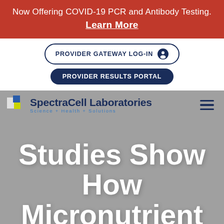Now Offering COVID-19 PCR and Antibody Testing. Learn More
PROVIDER GATEWAY LOG-IN
PROVIDER RESULTS PORTAL
[Figure (logo): SpectraCell Laboratories logo with colored squares and tagline Science + Health + Solutions]
Studies Show How Micronutrient...